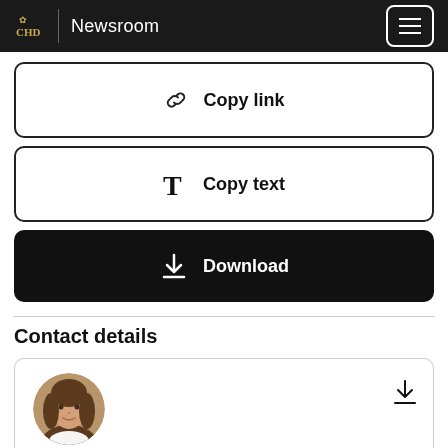Newsroom
Copy link
Copy text
Download
Contact details
[Figure (photo): Circular profile photo of a young woman with long brown hair wearing a white top]